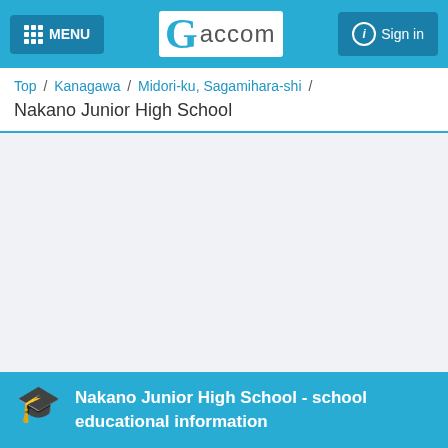MENU   Gaccom   Sign in
Top / Kanagawa / Midori-ku, Sagamihara-shi /
Nakano Junior High School
Nakano Junior High School - school educational information